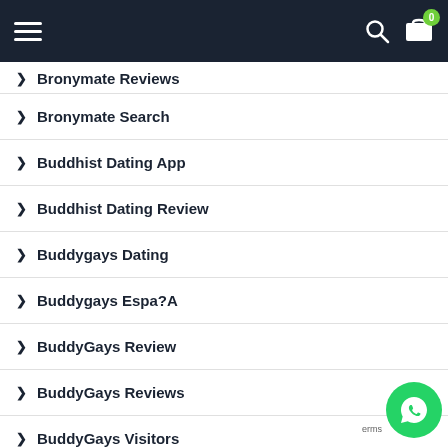Navigation bar with hamburger menu, search icon, and cart with badge 0
Bronymate Reviews
Bronymate Search
Buddhist Dating App
Buddhist Dating Review
Buddygays Dating
Buddygays Espa?A
BuddyGays Review
BuddyGays Reviews
BuddyGays Visitors